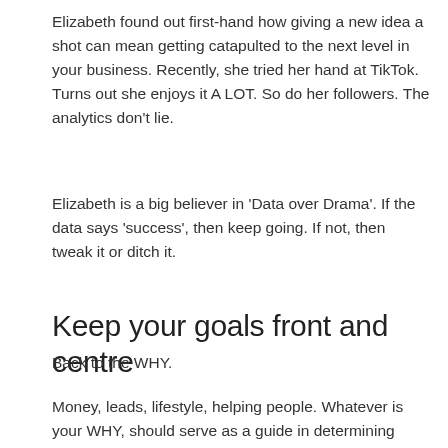Elizabeth found out first-hand how giving a new idea a shot can mean getting catapulted to the next level in your business. Recently, she tried her hand at TikTok. Turns out she enjoys it A LOT. So do her followers. The analytics don't lie.
Elizabeth is a big believer in 'Data over Drama'. If the data says 'success', then keep going. If not, then tweak it or ditch it.
Keep your goals front and centre
Back to the WHY.
Money, leads, lifestyle, helping people. Whatever is your WHY, should serve as a guide in determining